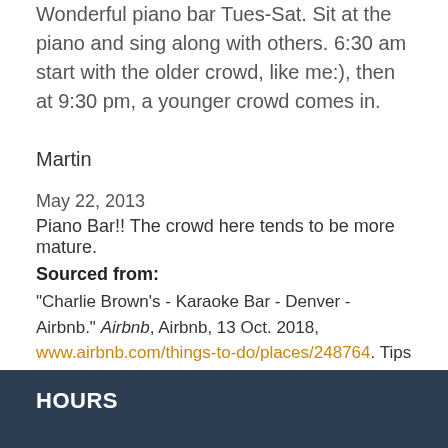Wonderful piano bar Tues-Sat. Sit at the piano and sing along with others. 6:30 am start with the older crowd, like me:), then at 9:30 pm, a younger crowd comes in.
Martin
May 22, 2013
Piano Bar!! The crowd here tends to be more mature.
Sourced from:
"Charlie Brown's - Karaoke Bar - Denver - Airbnb." Airbnb, Airbnb, 13 Oct. 2018, www.airbnb.com/things-to-do/places/248764. Tips from locals
HOURS